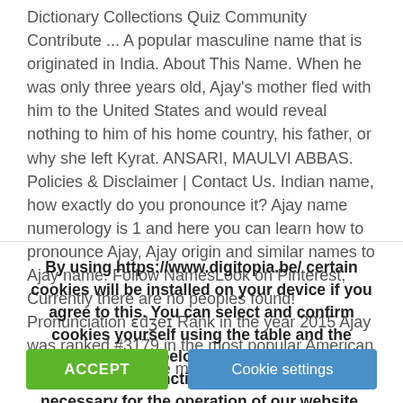Dictionary Collections Quiz Community Contribute ... A popular masculine name that is originated in India. About This Name. When he was only three years old, Ajay's mother fled with him to the United States and would reveal nothing to him of his home country, his father, or why she left Kyrat. ANSARI, MAULVI ABBAS. Policies & Disclaimer | Contact Us. Indian name, how exactly do you pronounce it? Ajay name numerology is 1 and here you can learn how to pronounce Ajay, Ajay origin and similar names to Ajay name. Follow NamesLook on Pinterest, Currently there are no peoples found! Pronunciation ɛdʒeɪ Rank in the year 2015 Ajay was ranked #3179 in the most popular American names of 2015. The meaning of Ajay is
By using https://www.digitopia.be/ certain cookies will be installed on your device if you agree to this. You can select and confirm cookies yourself using the table and the selection button below, with the exception of essential and functional cookies which are necessary for the operation of our website. Click here for more information on Digitopia's cookie policy.